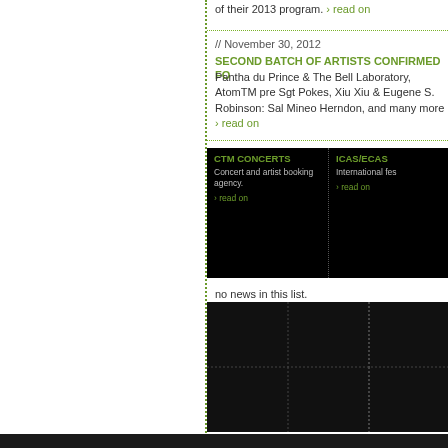of their 2013 program. › read on
// November 30, 2012
SECOND BATCH OF ARTISTS CONFIRMED FO
Pantha du Prince & The Bell Laboratory, AtomTM pre Sgt Pokes, Xiu Xiu & Eugene S. Robinson: Sal Mineo Herndon, and many more › read on
CTM CONCERTS
Concert and artist booking agency.
› read on
ICAS/ECAS
International fes
› read on
no news in this list.